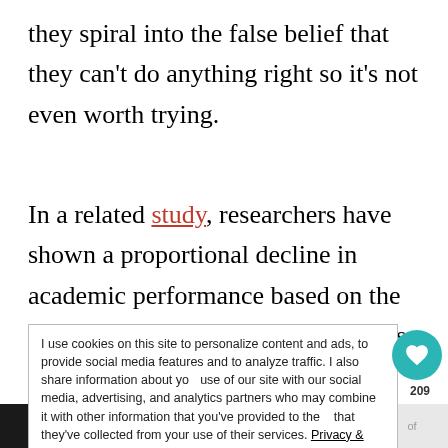they spiral into the false belief that they can't do anything right so it's not even worth trying.
In a related study, researchers have shown a proportional decline in academic performance based on the increasingly unrealistic expectations of their parents.
I use cookies on this site to personalize content and ads, to provide social media features and to analyze traffic. I also share information about your use of our site with our social media, advertising, and analytics partners who may combine it with other information that you've provided to the that they've collected from your use of their services. Privacy & Cookie Policy
[Figure (screenshot): Cookie consent banner with heart button (teal, 209 count) and share button overlay. Bottom shows #FlattenTheCurve ad banner with handwashing image.]